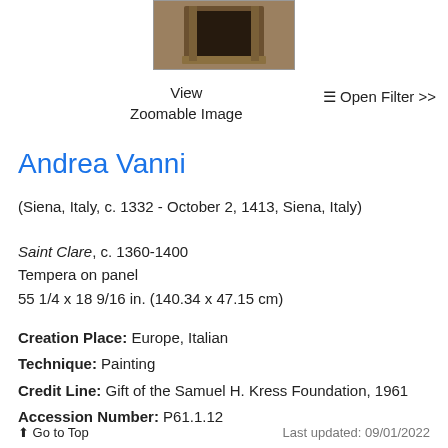[Figure (photo): Partial view of a wooden panel painting or altarpiece, shown cropped at top of page]
View
Zoomable Image
≡ Open Filter >>
Andrea Vanni
(Siena, Italy, c. 1332 - October 2, 1413, Siena, Italy)
Saint Clare, c. 1360-1400
Tempera on panel
55 1/4 x 18 9/16 in. (140.34 x 47.15 cm)
Creation Place: Europe, Italian
Technique: Painting
Credit Line: Gift of the Samuel H. Kress Foundation, 1961
Accession Number: P61.1.12
↑ Go to Top    Last updated: 09/01/2022